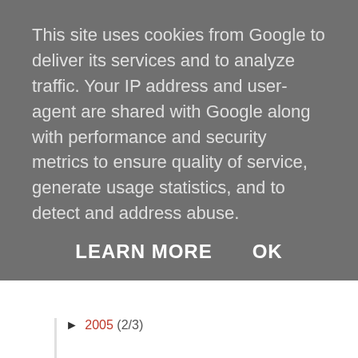This site uses cookies from Google to deliver its services and to analyze traffic. Your IP address and user-agent are shared with Google along with performance and security metrics to ensure quality of service, generate usage statistics, and to detect and address abuse.
LEARN MORE   OK
2005 (2/3)
[Figure (logo): Creative Commons BY NC SA license badge]
Headphonaught's Nanolog by Headphonaught is licensed under a Creative Commons Attribution-Noncommercial-Share Alike 2.5 UK: Scotland License.